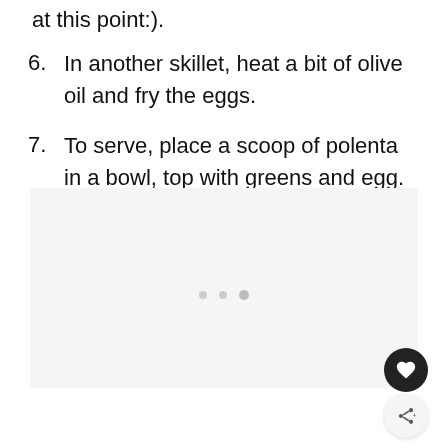at this point:).
6. In another skillet, heat a bit of olive oil and fry the eggs.
7. To serve, place a scoop of polenta in a bowl, top with greens and egg. Sprinkle with cheese, salt, and pepper.
[Figure (photo): Image placeholder area (light gray box) with pagination dots and UI buttons for heart/favorite and share actions]